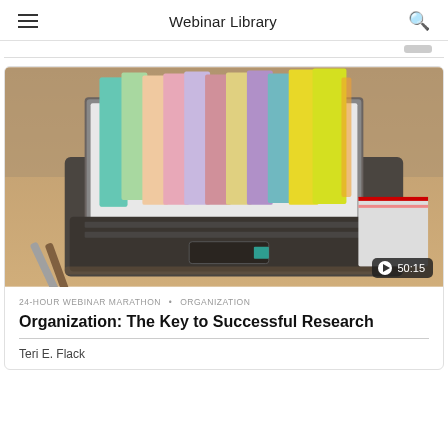Webinar Library
[Figure (screenshot): Screenshot of a webinar library app showing a laptop with colorful folders emerging from the screen, pencils on a desk. Duration badge shows 50:15.]
24-HOUR WEBINAR MARATHON • ORGANIZATION
Organization: The Key to Successful Research
Teri E. Flack